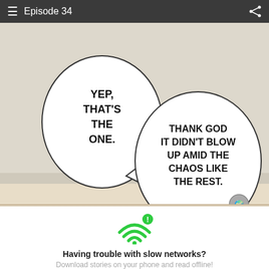Episode 34
[Figure (illustration): Comic panel with two speech bubbles on a beige/gray background. First speech bubble (left, smaller): 'YEP, THAT'S THE ONE.' Second speech bubble (right, larger): 'THANK GOD IT DIDN'T BLOW UP AMID THE CHAOS LIKE THE REST.' with a small circular avatar/icon at the bottom right of the second bubble.]
[Figure (infographic): Green WiFi symbol with a green exclamation mark badge in the upper right.]
Having trouble with slow networks?
Download stories on your phone and read offline!
Go to the WEBTOON app